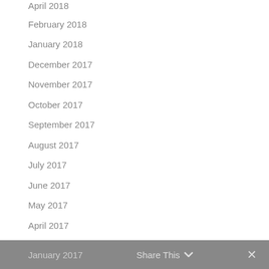April 2018
February 2018
January 2018
December 2017
November 2017
October 2017
September 2017
August 2017
July 2017
June 2017
May 2017
April 2017
March 2017
February 2017
January 2017
Share This  ✓  ✕